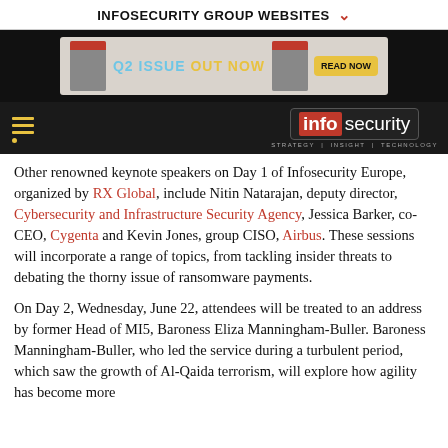INFOSECURITY GROUP WEBSITES ❯
[Figure (infographic): Advertisement banner: Q2 Issue Out Now with Read Now button, magazine covers on each side, dark background]
[Figure (logo): Infosecurity magazine logo with hamburger menu on left. Logo shows 'info' in red background and 'security' in white text, with tagline STRATEGY | INSIGHT | TECHNOLOGY]
Other renowned keynote speakers on Day 1 of Infosecurity Europe, organized by RX Global, include Nitin Natarajan, deputy director, Cybersecurity and Infrastructure Security Agency, Jessica Barker, co-CEO, Cygenta and Kevin Jones, group CISO, Airbus. These sessions will incorporate a range of topics, from tackling insider threats to debating the thorny issue of ransomware payments.
On Day 2, Wednesday, June 22, attendees will be treated to an address by former Head of MI5, Baroness Eliza Manningham-Buller. Baroness Manningham-Buller, who led the service during a turbulent period, which saw the growth of Al-Qaida terrorism, will explore how agility has become more